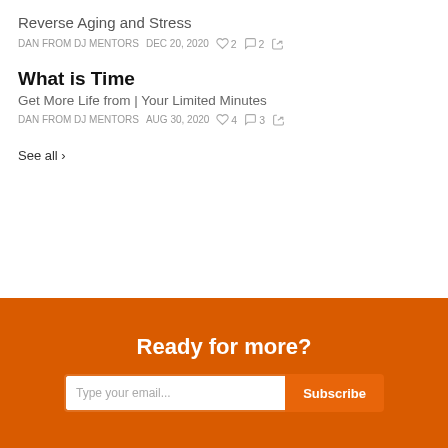Reverse Aging and Stress
DAN FROM DJ MENTORS   DEC 20, 2020   ♡ 2   ○ 2   ↗
What is Time
Get More Life from | Your Limited Minutes
DAN FROM DJ MENTORS   AUG 30, 2020   ♡ 4   ○ 3   ↗
See all ›
Ready for more?
Type your email...   Subscribe